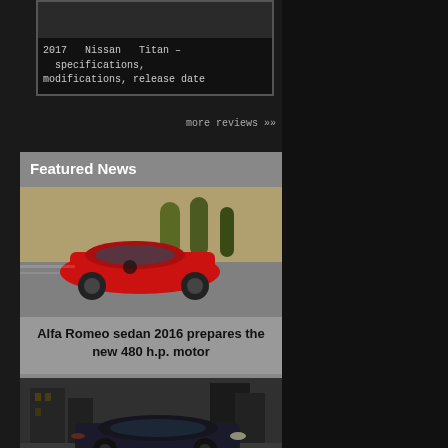2017 Nissan Titan – specifications, modifications, release date
more reviews ››
Featured News
[Figure (photo): Red Alfa Romeo sports car driving on road]
Alfa Romeo sedan 2016 prepares the new 480 h.p. motor
[Figure (photo): Dark sedan car in urban setting]